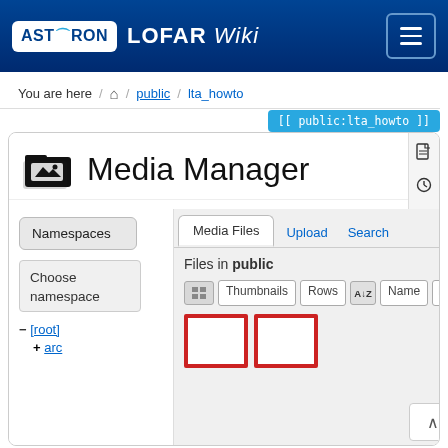ASTRON LOFAR Wiki
You are here / home / public / lta_howto
[[ public:lta_howto ]]
Media Manager
Namespaces
Choose namespace
- [root]
+ arc
Media Files   Upload   Search
Files in public
Thumbnails   Rows   Name   D